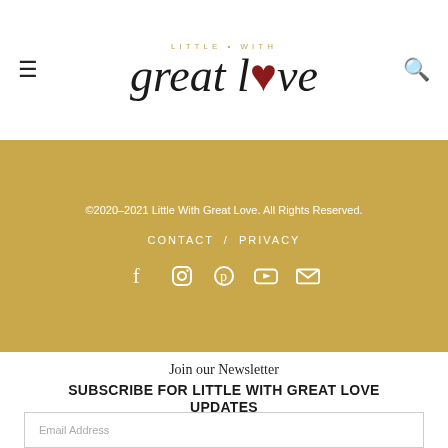LITTLE • WITH great love
©2020–2021 Little With Great Love. All Rights Reserved.
CONTACT / PRIVACY
[Figure (infographic): Social media icons: Facebook, Instagram, Pinterest, YouTube, Email]
Join our Newsletter
SUBSCRIBE FOR LITTLE WITH GREAT LOVE UPDATES
Be the first to receive the latest news, promos & more!
Email Address